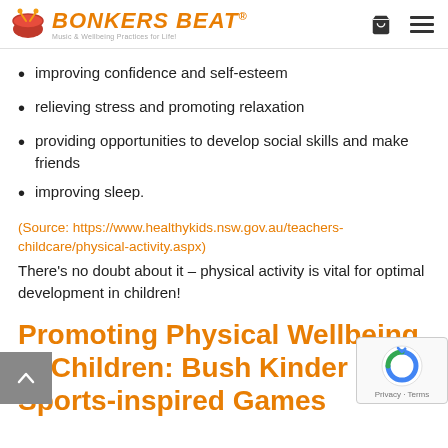Bonkers Beat — Music & Wellbeing Practices for Life!
improving confidence and self-esteem
relieving stress and promoting relaxation
providing opportunities to develop social skills and make friends
improving sleep.
(Source: https://www.healthykids.nsw.gov.au/teachers-childcare/physical-activity.aspx)
There's no doubt about it – physical activity is vital for optimal development in children!
Promoting Physical Wellbeing in Children: Bush Kinder and Sports-inspired Games